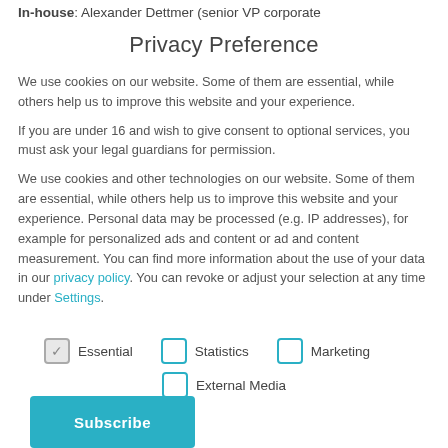In-house: Alexander Dettmer (senior VP corporate
Privacy Preference
We use cookies on our website. Some of them are essential, while others help us to improve this website and your experience.
If you are under 16 and wish to give consent to optional services, you must ask your legal guardians for permission.
We use cookies and other technologies on our website. Some of them are essential, while others help us to improve this website and your experience. Personal data may be processed (e.g. IP addresses), for example for personalized ads and content or ad and content measurement. You can find more information about the use of your data in our privacy policy. You can revoke or adjust your selection at any time under Settings.
Essential (checked)
Statistics
Marketing
External Media
Subscribe